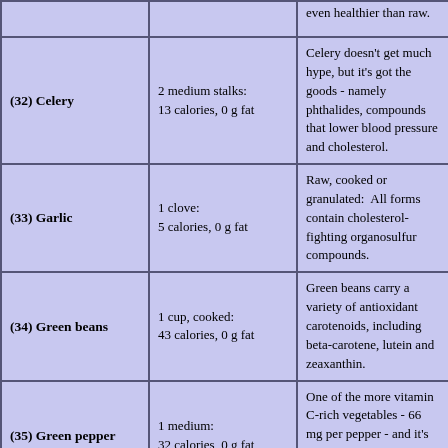| Food | Serving | Description |
| --- | --- | --- |
|  |  | even healthier than raw. |
| (32) Celery | 2 medium stalks:
13 calories, 0 g fat | Celery doesn't get much hype, but it's got the goods - namely phthalides, compounds that lower blood pressure and cholesterol. |
| (33) Garlic | 1 clove:
5 calories, 0 g fat | Raw, cooked or granulated:  All forms contain cholesterol-fighting organosulfur compounds. |
| (34) Green beans | 1 cup, cooked:
43 calories, 0 g fat | Green beans carry a variety of antioxidant carotenoids, including beta-carotene, lutein and zeaxanthin. |
| (35) Green pepper | 1 medium:
32 calories, 0 g fat | One of the more vitamin C-rich vegetables - 66 mg per pepper - and it's got a little capsaicin, too (see peppers, below). |
| (36-39) Greens (collard, | 1 cup, cooked: | These greens are packed with disease fighters:  lutein, |